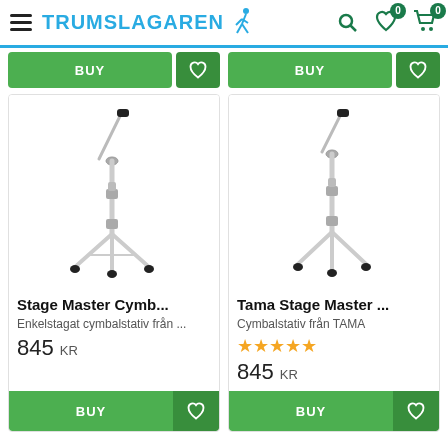TRUMSLAGAREN
[Figure (photo): Stage Master cymbal stand - straight boom cymbal stand with tripod legs, chrome finish]
Stage Master Cymb...
Enkelstagat cymbalstativ från ...
845 KR
[Figure (photo): Tama Stage Master cymbal stand - straight boom cymbal stand with tripod legs, chrome finish]
Tama Stage Master ...
Cymbalstativ från TAMA
★★★★★
845 KR